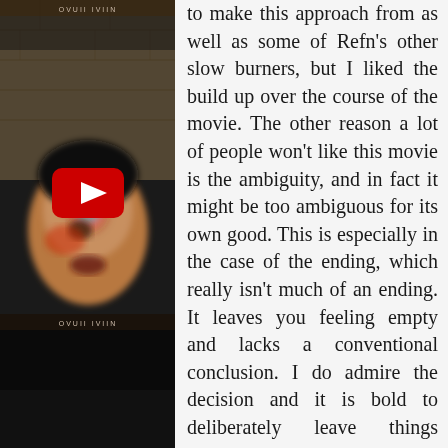[Figure (photo): A video thumbnail showing a blurred colorful face/mask image with a red YouTube play button overlay in the center. Below the thumbnail is a black bar. Decorative text overlays at top and bottom of the image area.]
to make this approach from as well as some of Refn's other slow burners, but I liked the build up over the course of the movie. The other reason a lot of people won't like this movie is the ambiguity, and in fact it might be too ambiguous for its own good. This is especially in the case of the ending, which really isn't much of an ending. It leaves you feeling empty and lacks a conventional conclusion. I do admire the decision and it is bold to deliberately leave things without closure and the audience with more questions than before. I also get that it's deliberately leaving itself to be heavily interpreted. However, I think this